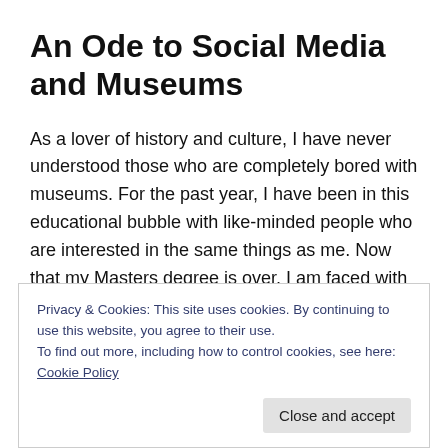An Ode to Social Media and Museums
As a lover of history and culture, I have never understood those who are completely bored with museums. For the past year, I have been in this educational bubble with like-minded people who are interested in the same things as me. Now that my Masters degree is over, I am faced with the reality that not everyone I meet may be interested in the state of the illicit antiquities trade or the cultural
Privacy & Cookies: This site uses cookies. By continuing to use this website, you agree to their use.
To find out more, including how to control cookies, see here: Cookie Policy
Close and accept